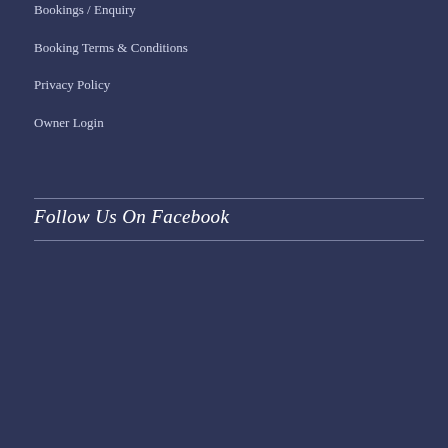Bookings / Enquiry
Booking Terms & Conditions
Privacy Policy
Owner Login
Follow Us On Facebook